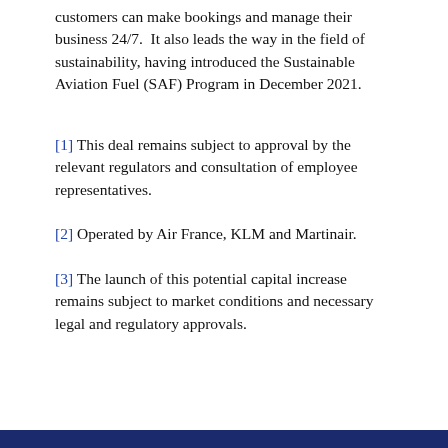customers can make bookings and manage their business 24/7. It also leads the way in the field of sustainability, having introduced the Sustainable Aviation Fuel (SAF) Program in December 2021.
[1] This deal remains subject to approval by the relevant regulators and consultation of employee representatives.
[2] Operated by Air France, KLM and Martinair.
[3] The launch of this potential capital increase remains subject to market conditions and necessary legal and regulatory approvals.